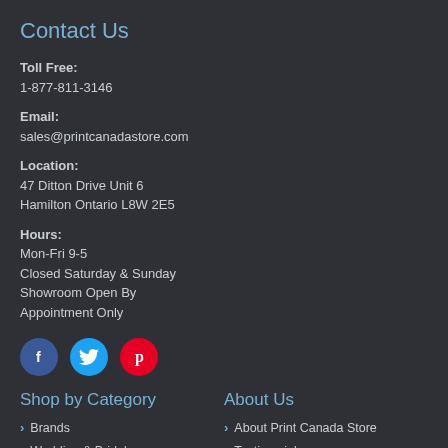Contact Us
Toll Free:
1-877-811-3146
Email:
sales@printcanadastore.com
Location:
47 Ditton Drive Unit 6
Hamilton Ontario L8W 2E5
Hours:
Mon-Fri 9-5
Closed Saturday & Sunday
Showroom Open By
Appointment Only
[Figure (infographic): Three social media icons: Facebook (blue circle with f), Twitter (light blue circle with bird), Pinterest (red circle with p)]
Shop by Category
Brands
Wedding & Bridal
Personalized Glassware
Corporate
Baby
About Us
About Print Canada Store
Testimonials
FAQ
Blog
Shipping & Returns